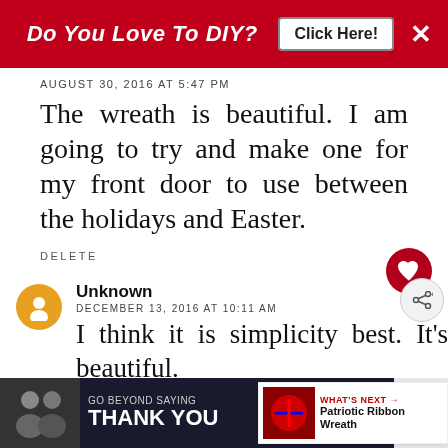[Figure (screenshot): Red advertisement banner at top: 'Do You Love To DIY? Click Here!' with close X button]
AUGUST 30, 2016 AT 5:47 PM
The wreath is beautiful. I am going to try and make one for my front door to use between the holidays and Easter.
DELETE
Unknown
DECEMBER 13, 2016 AT 10:11 AM
I think it is simplicity best. It's beautiful.
[Figure (screenshot): Bottom advertisement: GO BEYOND SAYING THANK YOU - Operation Gratitude JOIN US banner]
[Figure (screenshot): WHAT'S NEXT arrow - Patriotic Ribbon Wreath thumbnail]